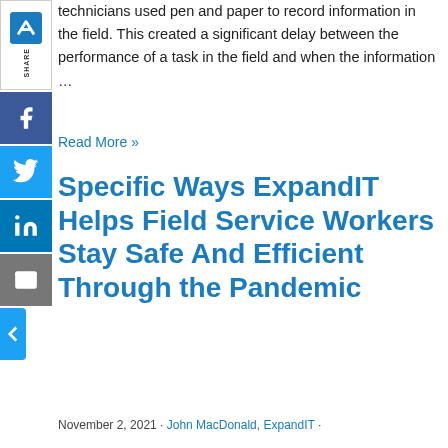technicians used pen and paper to record information in the field. This created a significant delay between the performance of a task in the field and when the information …
Read More »
Specific Ways ExpandIT Helps Field Service Workers Stay Safe And Efficient Through the Pandemic
November 2, 2021 · John MacDonald, ExpandIT ·